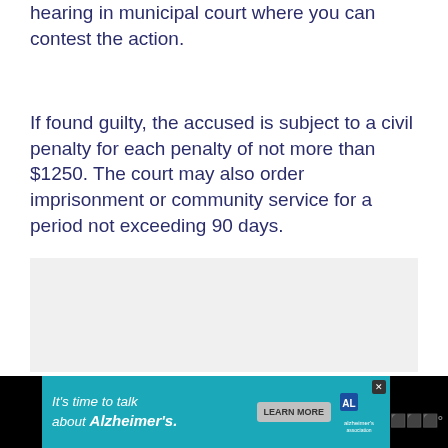hearing in municipal court where you can contest the action.
If found guilty, the accused is subject to a civil penalty for each penalty of not more than $1250. The court may also order imprisonment or community service for a period not exceeding 90 days.
[Figure (other): Gray placeholder advertisement box]
[Figure (other): Advertisement banner: 'It's time to talk about Alzheimer's.' with Alzheimer's Association logo and LEARN MORE button on teal background]